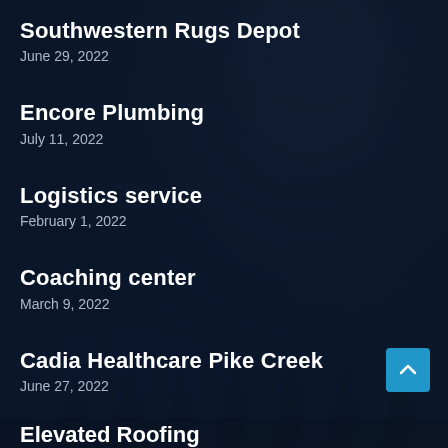Southwestern Rugs Depot
June 29, 2022
Encore Plumbing
July 11, 2022
Logistics service
February 1, 2022
Coaching center
March 9, 2022
Cadia Healthcare Pike Creek
June 27, 2022
Elevated Roofing